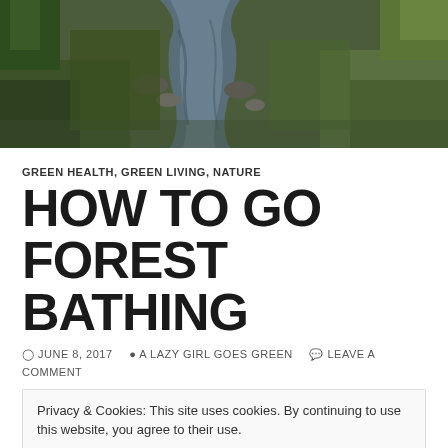[Figure (photo): A forest stream with mossy banks, rocks, and lush green vegetation viewed from above]
GREEN HEALTH, GREEN LIVING, NATURE
HOW TO GO FOREST BATHING
JUNE 8, 2017   A LAZY GIRL GOES GREEN   LEAVE A COMMENT
Privacy & Cookies: This site uses cookies. By continuing to use this website, you agree to their use. To find out more, including how to control cookies, see here: Cookie Policy
Just the same way you would bathe in water